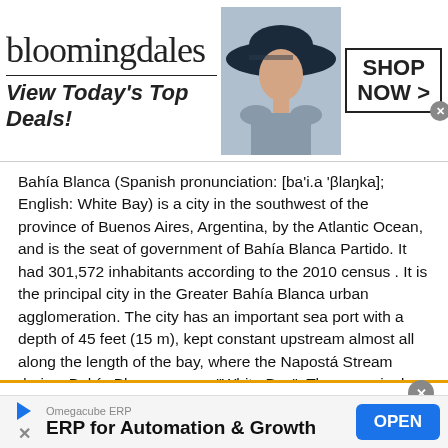[Figure (other): Bloomingdale's advertisement banner showing logo, tagline 'View Today's Top Deals!', fashion model with large hat, and 'SHOP NOW >' button]
Bahía Blanca (Spanish pronunciation: [ba'i.a 'βlaŋka]; English: White Bay) is a city in the southwest of the province of Buenos Aires, Argentina, by the Atlantic Ocean, and is the seat of government of Bahía Blanca Partido. It had 301,572 inhabitants according to the 2010 census . It is the principal city in the Greater Bahía Blanca urban agglomeration. The city has an important sea port with a depth of 45 feet (15 m), kept constant upstream almost all along the length of the bay, where the Napostá Stream drains. Bahía Blanca means "White Bay". The name is due to the typical colour of the sa...
This site uses cookies and other similar technologies to provide site functionality, analyze traffic and usage, and
[Figure (other): Omegacube ERP advertisement with text 'ERP for Automation & Growth' and 'OPEN' button]